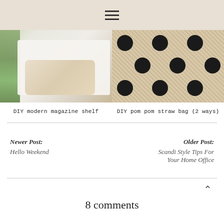☰ (hamburger menu icon)
[Figure (photo): DIY modern magazine shelf — white shelf with fluffy throw and green plant visible on left edge]
[Figure (photo): DIY pom pom straw bag (2 ways) — woven straw bag with large black pom pom dots on natural background]
DIY modern magazine shelf
DIY pom pom straw bag (2 ways)
Newer Post: Hello Weekend
Older Post: Scandi Style Tips For Your Home Office
8 comments